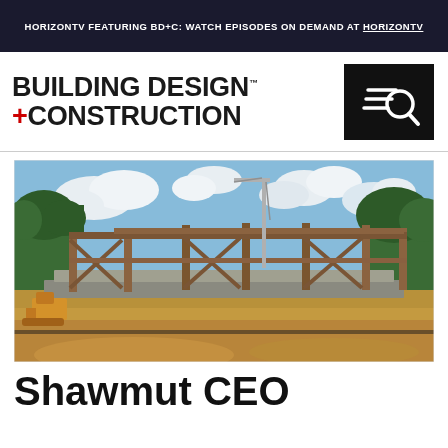HORIZONTV FEATURING BD+C: WATCH EPISODES ON DEMAND AT HORIZONTV
BUILDING DESIGN +CONSTRUCTION
[Figure (photo): Construction site photo showing a steel-framed building structure under construction, with exposed steel beams, concrete foundation, a crane visible in the background, surrounded by trees and earthwork under a blue sky with clouds.]
Shawmut CEO